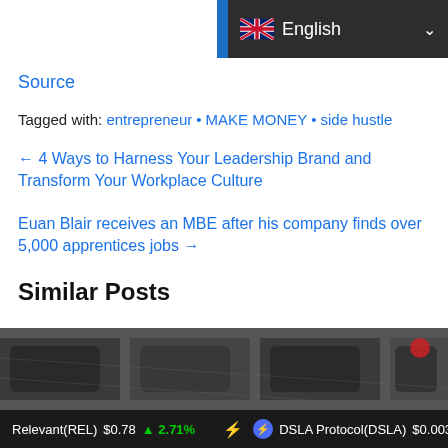English
Source
Tagged with: entrepreneur • MAKE MONEY • side hustle
← 4 Ways to Harness Your Leadership Brand and Transform Your Workplace Culture
Euan Blair receives an MBE after his company finds over 5,000 apprentices jobs →
Similar Posts
[Figure (photo): Dark grayscale image of what appears to be keyboard keys or textured surface]
Relevant(REL) $0.78 ↑ 2.71%   DSLA Protocol(DSLA) $0.003679